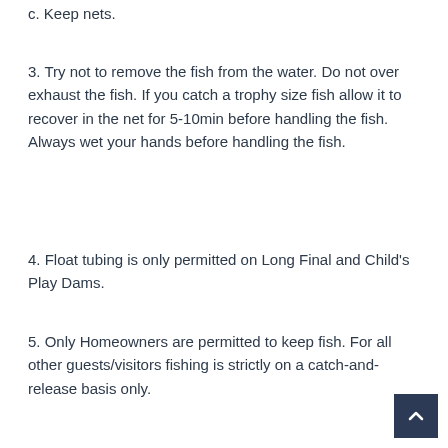c. Keep nets.
3. Try not to remove the fish from the water. Do not over exhaust the fish. If you catch a trophy size fish allow it to recover in the net for 5-10min before handling the fish. Always wet your hands before handling the fish.
4. Float tubing is only permitted on Long Final and Child’s Play Dams.
5. Only Homeowners are permitted to keep fish. For all other guests/visitors fishing is strictly on a catch-and-release basis only.